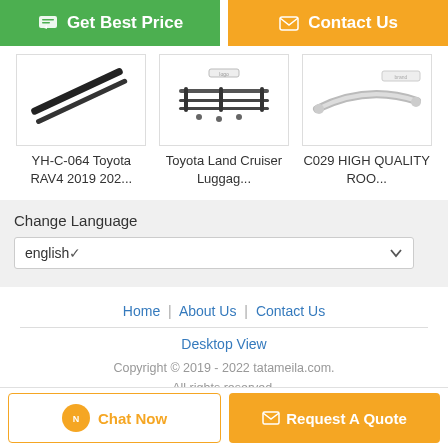[Figure (screenshot): Two call-to-action buttons: green 'Get Best Price' and orange 'Contact Us']
[Figure (photo): Three product thumbnails: YH-C-064 Toyota RAV4 2019 202..., Toyota Land Cruiser Luggag..., C029 HIGH QUALITY ROO...]
YH-C-064 Toyota RAV4 2019 202...
Toyota Land Cruiser Luggag...
C029 HIGH QUALITY ROO...
Change Language
english
Home | About Us | Contact Us
Desktop View
Copyright © 2019 - 2022 tatameila.com. All rights reserved.
[Figure (screenshot): Bottom buttons: 'Chat Now' and 'Request A Quote']